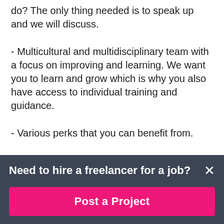do? The only thing needed is to speak up and we will discuss.
- Multicultural and multidisciplinary team with a focus on improving and learning. We want you to learn and grow which is why you also have access to individual training and guidance.
- Various perks that you can benefit from.
- Weekly remote pilates classes for all
- Fair compensation.
Need to hire a freelancer for a job?
Post a Project